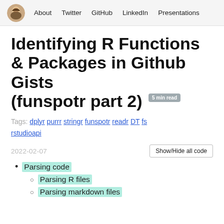About  Twitter  GitHub  LinkedIn  Presentations
Identifying R Functions & Packages in Github Gists (funspotr part 2)
Tags: dplyr purrr stringr funspotr readr DT fs rstudioapi
2022-02-07
Show/Hide all code
Parsing code
Parsing R files
Parsing markdown files